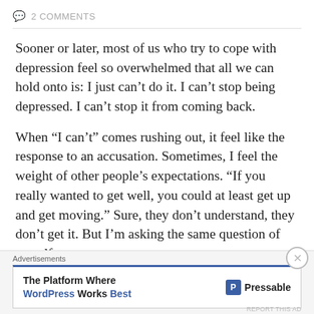2 COMMENTS
Sooner or later, most of us who try to cope with depression feel so overwhelmed that all we can hold onto is: I just can't do it. I can't stop being depressed. I can't stop it from coming back.
When “I can’t” comes rushing out, it feel like the response to an accusation. Sometimes, I feel the weight of other people’s expectations. “If you really wanted to get well, you could at least get up and get moving.” Sure, they don’t understand, they don’t get it. But I’m asking the same question of myself.
Advertisements
[Figure (screenshot): Advertisement banner: 'The Platform Where WordPress Works Best' with Pressable logo]